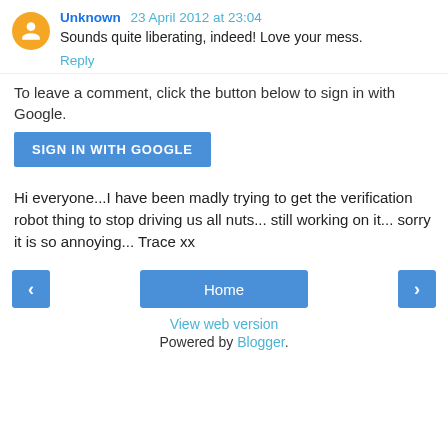Unknown 23 April 2012 at 23:04
Sounds quite liberating, indeed! Love your mess.
Reply
To leave a comment, click the button below to sign in with Google.
SIGN IN WITH GOOGLE
Hi everyone...I have been madly trying to get the verification robot thing to stop driving us all nuts... still working on it... sorry it is so annoying... Trace xx
< Home > View web version Powered by Blogger.